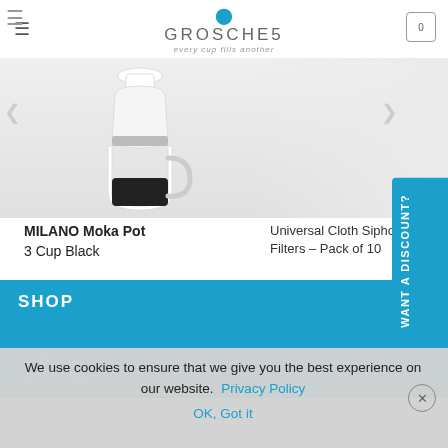GROSCHE — every cup fills another
[Figure (photo): MILANO Moka Pot product image on grey background]
MILANO Moka Pot
3 Cup Black
Universal Cloth Siphon Filters – Pack of 10
$ 31.99 USD
ADD TO CART
★★★★★
$ 10.00 USD
ADD TO CART
WANT A DISCOUNT?
SHOP
ESPRESSO
Water Bottles
We use cookies to ensure that we give you the best experience on our website.
Privacy Policy   OK, Got it